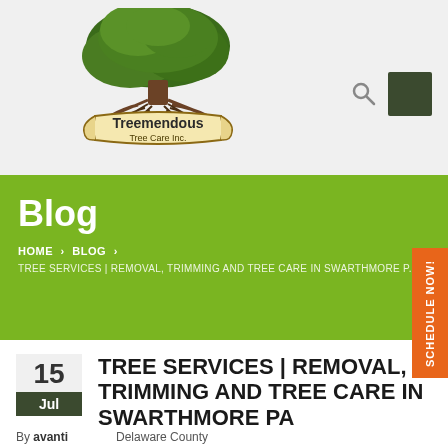[Figure (logo): Treemendous Tree Care Inc. logo with an illustrated oak tree growing from roots, with the company name in a wooden sign badge at the base]
Blog
HOME > BLOG >
TREE SERVICES | REMOVAL, TRIMMING AND TREE CARE IN SWARTHMORE P...
SCHEDULE NOW!
TREE SERVICES | REMOVAL, TRIMMING AND TREE CARE IN SWARTHMORE PA
By avanti    Delaware County